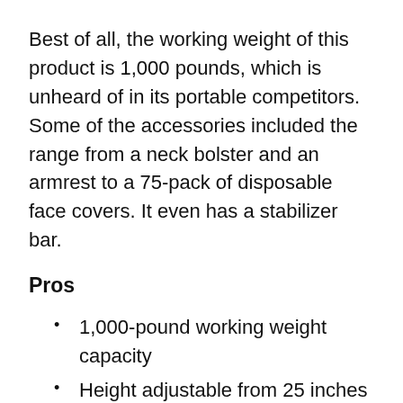Best of all, the working weight of this product is 1,000 pounds, which is unheard of in its portable competitors. Some of the accessories included the range from a neck bolster and an armrest to a 75-pack of disposable face covers. It even has a stabilizer bar.
Pros
1,000-pound working weight capacity
Height adjustable from 25 inches to 35 inches
Measures 88 by 33 inches
Spectacular look thanks to its hardwood legs and frame and hi-gloss finish